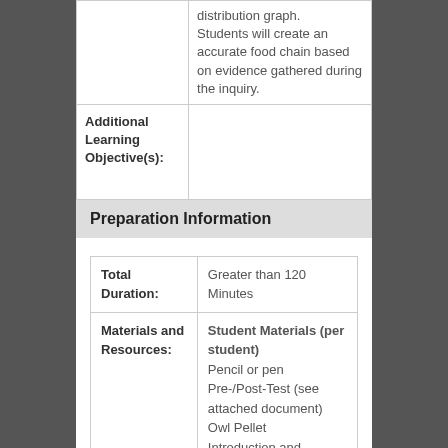|  |  |
| --- | --- |
|  | distribution graph.
Students will create an accurate food chain based on evidence gathered during the inquiry. |
| Additional Learning Objective(s): |  |
Preparation Information
|  |  |
| --- | --- |
| Total Duration: | Greater than 120 Minutes |
| Materials and Resources: | Student Materials (per student)
Pencil or pen
Pre-/Post-Test (see attached document)
Owl Pellet
Introduction and Instructions ( |